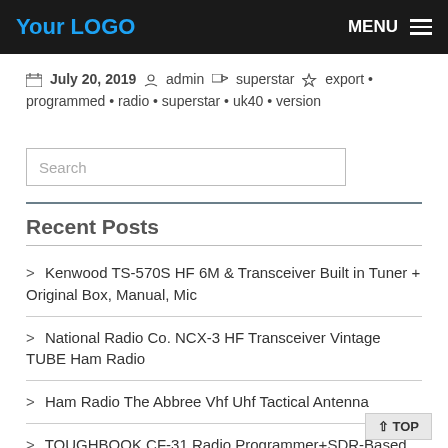Your LOGO | MENU
July 20, 2019  admin  superstar  export • programmed • radio • superstar • uk40 • version
Search
Recent Posts
> Kenwood TS-570S HF 6M & Transceiver Built in Tuner + Original Box, Manual, Mic
> National Radio Co. NCX-3 HF Transceiver Vintage TUBE Ham Radio
> Ham Radio The Abbree Vhf Uhf Tactical Antenna
> TOUGHBOOK CF-31 Radio Programmer+SDR-Based RF Receiver/ Spectrum Analyzer +ADS-B